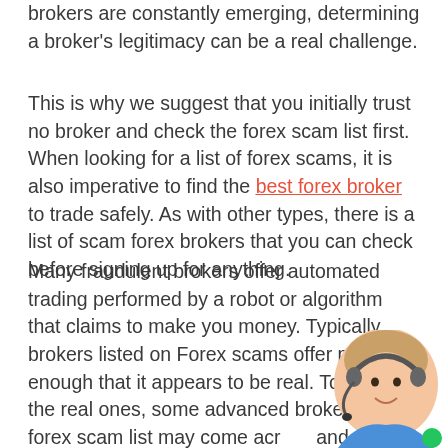brokers are constantly emerging, determining a broker's legitimacy can be a real challenge.
This is why we suggest that you initially trust no broker and check the forex scam list first. When looking for a list of forex scams, it is also imperative to find the best forex broker to trade safely. As with other types, there is a list of scam forex brokers that you can check before signing up for anything.
Many fraudulent brokers offer automated trading performed by a robot or algorithm that claims to make you money. Typically brokers listed on Forex scams offer profitable enough that it appears to be real. To act like the real ones, some advanced brokers on the forex scam list may come acr… and explain the low or even zero risk when tra…
[Figure (photo): Customer service representative (woman with headset) in bottom-right corner with a green status dot]